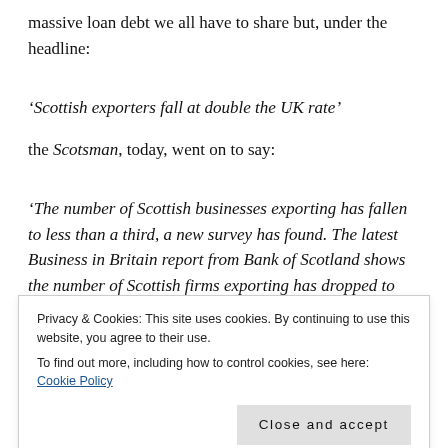massive loan debt we all have to share but, under the headline:
‘Scottish exporters fall at double the UK rate’
the Scotsman, today, went on to say:
‘The number of Scottish businesses exporting has fallen to less than a third, a new survey has found. The latest Business in Britain report from Bank of Scotland shows the number of Scottish firms exporting has dropped to
Privacy & Cookies: This site uses cookies. By continuing to use this website, you agree to their use.
To find out more, including how to control cookies, see here: Cookie Policy
Close and accept